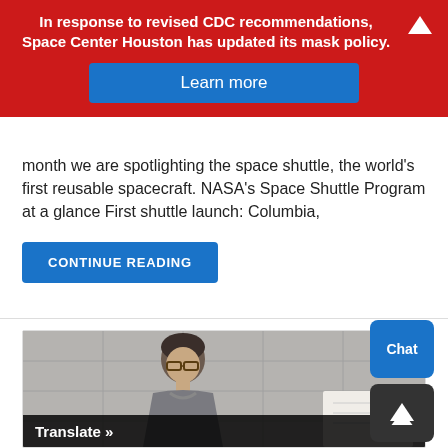In response to revised CDC recommendations, Space Center Houston has updated its mask policy.
Learn more
month we are spotlighting the space shuttle, the world's first reusable spacecraft. NASA's Space Shuttle Program at a glance First shuttle launch: Columbia,
CONTINUE READING
[Figure (photo): Woman with glasses sitting at a desk, photographed in what appears to be an indoor setting with a tiled wall background.]
Translate »
Chat